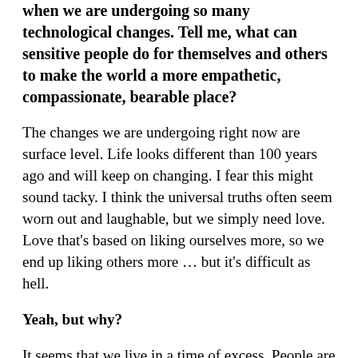when we are undergoing so many technological changes. Tell me, what can sensitive people do for themselves and others to make the world a more empathetic, compassionate, bearable place?
The changes we are undergoing right now are surface level. Life looks different than 100 years ago and will keep on changing. I fear this might sound tacky. I think the universal truths often seem worn out and laughable, but we simply need love. Love that's based on liking ourselves more, so we end up liking others more … but it's difficult as hell.
Yeah, but why?
It seems that we live in a time of excess. People are addicted to things. They work hard to have more so to not be considered inferior. Social media has